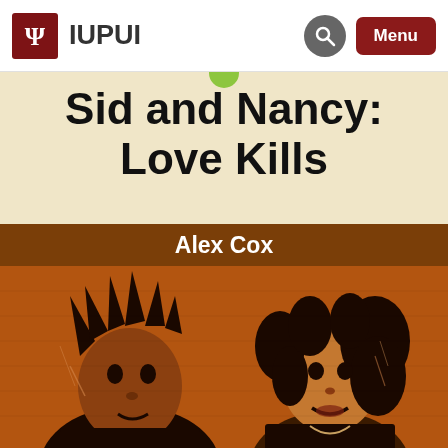IUPUI
[Figure (photo): Book cover of 'Sid and Nancy: Love Kills' by Alex Cox, showing a stylized orange-toned duotone image of two punk figures (Sid Vicious and Nancy Spungen). The cover has a cream top band, a brown author band, and an orange lower section with the two figures.]
Sid and Nancy: Love Kills
Alex Cox